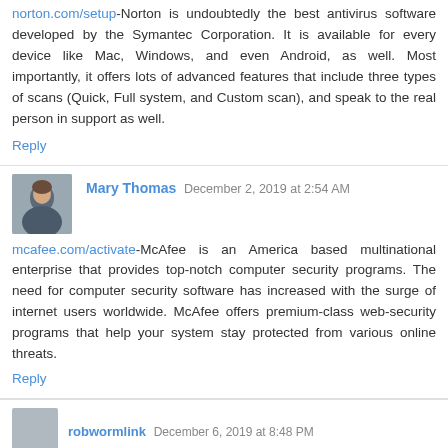norton.com/setup-Norton is undoubtedly the best antivirus software developed by the Symantec Corporation. It is available for every device like Mac, Windows, and even Android, as well. Most importantly, it offers lots of advanced features that include three types of scans (Quick, Full system, and Custom scan), and speak to the real person in support as well.
Reply
Mary Thomas  December 2, 2019 at 2:54 AM
mcafee.com/activate-McAfee is an America based multinational enterprise that provides top-notch computer security programs. The need for computer security software has increased with the surge of internet users worldwide. McAfee offers premium-class web-security programs that help your system stay protected from various online threats.
Reply
robwormlink  December 6, 2019 at 8:48 PM